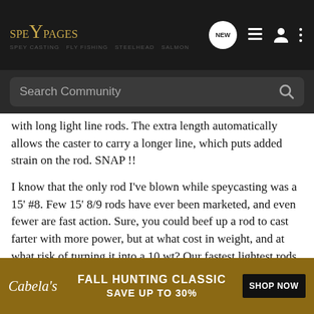SPEYPAGES — Search Community
with long light line rods. The extra length automatically allows the caster to carry a longer line, which puts added strain on the rod. SNAP !!
I know that the only rod I've blown while speycasting was a 15' #8. Few 15' 8/9 rods have ever been marketed, and even fewer are fast action. Sure, you could beef up a rod to cast farter with more power, but at what cost in weight, and at what risk of turning it into a 10 wt? Our fastest lightest rods are also the most fragile, and there seems to be a real trade-off here.
Given time, I also trust that rod design and materials geniuses will prove me wrong.
[Figure (screenshot): Cabela's Fall Hunting Classic advertisement banner — Save Up To 30% with Shop Now button]